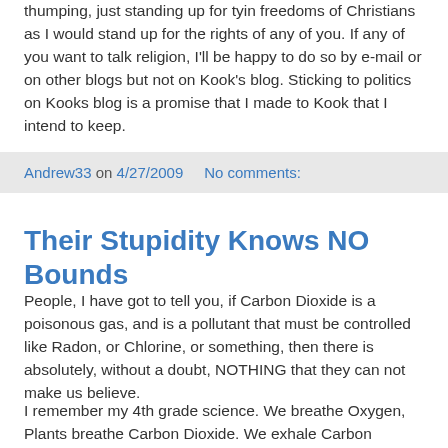thumping, just standing up for tyin freedoms of Christians as I would stand up for the rights of any of you. If any of you want to talk religion, I'll be happy to do so by e-mail or on other blogs but not on Kook's blog. Sticking to politics on Kooks blog is a promise that I made to Kook that I intend to keep.
Andrew33 on 4/27/2009   No comments:
Their Stupidity Knows NO Bounds
People, I have got to tell you, if Carbon Dioxide is a poisonous gas, and is a pollutant that must be controlled like Radon, or Chlorine, or something, then there is absolutely, without a doubt, NOTHING that they can not make us believe.
I remember my 4th grade science. We breathe Oxygen, Plants breathe Carbon Dioxide. We exhale Carbon Dioxide, Plants exhale oxygen. Golly, it is almost as if someone